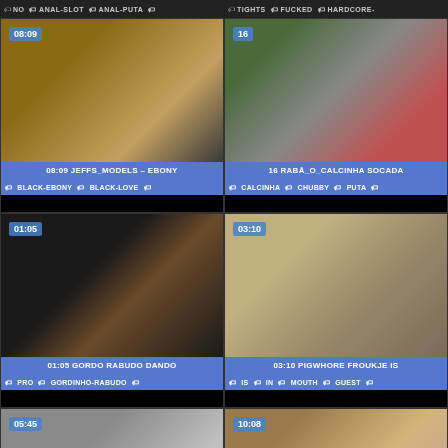NO ANAL-SLOT ANAL-PUTA
TIGHTS FUCKED HARDCORE
[Figure (screenshot): Video thumbnail card: 08:09 JEFFS_MODELS - EBONY, tags: BLACK-EBONY BLACK-LOVE]
[Figure (screenshot): Video thumbnail card: 16 RABĀ_O_CALCINHA SOCADA, tags: CALCINHA CHUBBY PUTA]
[Figure (screenshot): Video thumbnail card: 01:05 GORDO RABUDO DANDO, tags: PRO GORDINHO-RABUDO]
[Figure (screenshot): Video thumbnail card: 03:10 PIGWHORE FROUKJE IS, tags: IS IN MOUTH GUEST]
[Figure (screenshot): Video thumbnail card: 05:45, partial view]
[Figure (screenshot): Video thumbnail card: 10:08, partial view]